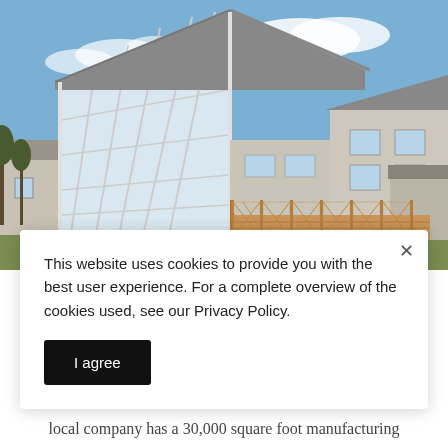[Figure (photo): Photograph of a house with large A-frame glass facade and greenhouse-style windows, wooden deck with lattice railing, grey siding, blue sky with clouds]
This website uses cookies to provide you with the best user experience. For a complete overview of the cookies used, see our Privacy Policy.
I agree
local company has a 30,000 square foot manufacturing